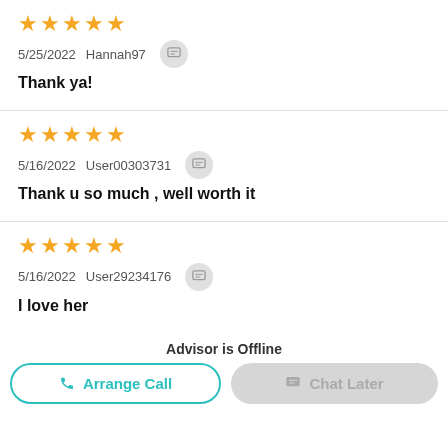★★★★★
5/25/2022   Hannah97
Thank ya!
★★★★★
5/16/2022   User00303731
Thank u so much , well worth it
★★★★★
5/16/2022   User29234176
I love her
Advisor is Offline